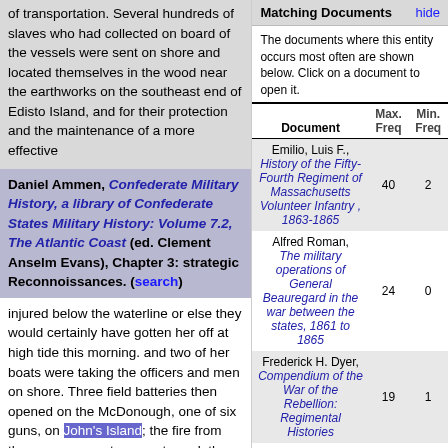of transportation. Several hundreds of slaves who had collected on board of the vessels were sent on shore and located themselves in the wood near the earthworks on the southeast end of Edisto Island, and for their protection and the maintenance of a more effective
Daniel Ammen, Confederate Military History, a library of Confederate States Military History: Volume 7.2, The Atlantic Coast (ed. Clement Anselm Evans), Chapter 3: strategic Reconnoissances. (search)
injured below the waterline or else they would certainly have gotten her off at high tide this morning. and two of her boats were taking the officers and men on shore. Three field batteries then opened on the McDonough, one of six guns, on John's Island; the fire from the enemy was at once returned, the engines reversed and the vessel dropped down the stream. The report of the officer commanding the Smith states that he anchored opposite Grimball's plantation, four and a half miles from tew minutes later a battery of three rifled guns on James Island six hundred yards distant, and concealed by trees,
Matching Documents hide
The documents where this entity occurs most often are shown below. Click on a document to open it.
| Document | Max. Freq | Min. Freq |
| --- | --- | --- |
| Emilio, Luis F., History of the Fifty-Fourth Regiment of Massachusetts Volunteer Infantry , 1863-1865 | 40 | 2 |
| Alfred Roman, The military operations of General Beauregard in the war between the states, 1861 to 1865 | 24 | 0 |
| Frederick H. Dyer, Compendium of the War of the Rebellion: Regimental Histories | 19 | 1 |
| William F. Fox, Lt. Col. U. S. V., Regimental Losses in the |  |  |